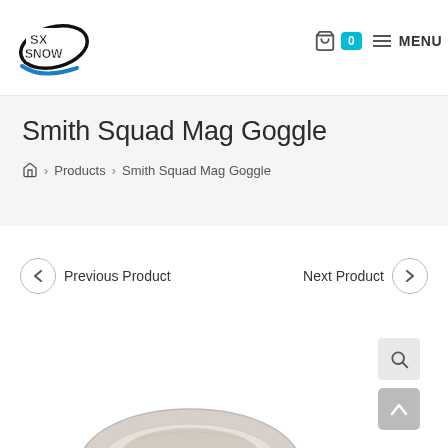[Figure (logo): SX Snow logo with black oval orbit ring and blue swoosh, text SX SNOW in white with black outline]
0  ≡ MENU
Smith Squad Mag Goggle
🏠 > Products > Smith Squad Mag Goggle
< Previous Product    Next Product >
[Figure (photo): Smith Squad Mag Goggle product image showing a skiing goggle from below, partially visible at bottom of page]